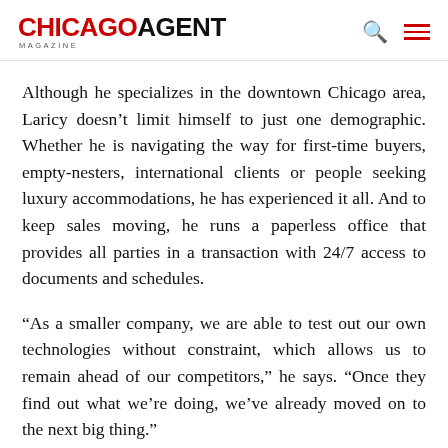CHICAGO AGENT MAGAZINE
Although he specializes in the downtown Chicago area, Laricy doesn’t limit himself to just one demographic. Whether he is navigating the way for first-time buyers, empty-nesters, international clients or people seeking luxury accommodations, he has experienced it all. And to keep sales moving, he runs a paperless office that provides all parties in a transaction with 24/7 access to documents and schedules.
“As a smaller company, we are able to test out our own technologies without constraint, which allows us to remain ahead of our competitors,” he says. “Once they find out what we’re doing, we’ve already moved on to the next big thing.”